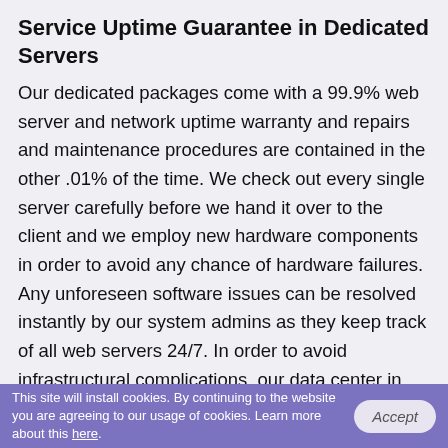Service Uptime Guarantee in Dedicated Servers
Our dedicated packages come with a 99.9% web server and network uptime warranty and repairs and maintenance procedures are contained in the other .01% of the time. We check out every single server carefully before we hand it over to the client and we employ new hardware components in order to avoid any chance of hardware failures. Any unforeseen software issues can be resolved instantly by our system admins as they keep track of all web servers 24/7. In order to avoid infrastructural complications, our data center in downtown Chicago takes advantage of powerful diesel backup generators, while the connection to the web servers is ensured by redundant fiber lines from several backbone Internet providers. To be on the safe side, we have software and hardware firewalls, so even if your sites are
This site will install cookies. By continuing to the website you are agreeing to our usage of cookies. Learn more about this here.